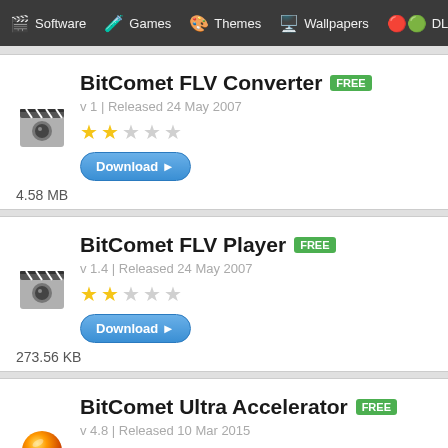Software | Games | Themes | Wallpapers | DLL
BitComet FLV Converter FREE
v 1 | Released 24 May 2007
Download
4.58 MB
BitComet FLV Player FREE
v 1.4 | Released 24 May 2007
Download
273.56 KB
BitComet Ultra Accelerator FREE
v 4.8 | Released 10 Mar 2015